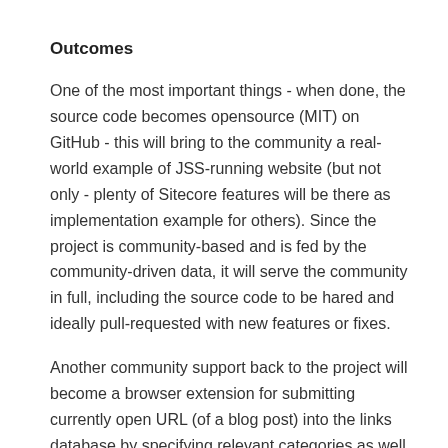Outcomes
One of the most important things - when done, the source code becomes opensource (MIT) on GitHub - this will bring to the community a real-world example of JSS-running website (but not only - plenty of Sitecore features will be there as implementation example for others). Since the project is community-based and is fed by the community-driven data, it will serve the community in full, including the source code to be hared and ideally pull-requested with new features or fixes.
Another community support back to the project will become a browser extension for submitting currently open URL (of a blog post) into the links database by specifying relevant categories as well as other information, after a quick moderation of course.
Numerous blog posts from myself, describing the changes implemented and sharing the experience of JSS and other